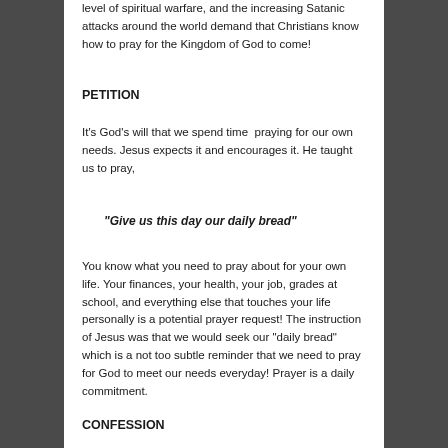level of spiritual warfare, and the increasing Satanic attacks around the world demand that Christians know how to pray for the Kingdom of God to come!
PETITION
It’s God’s will that we spend time  praying for our own needs. Jesus expects it and encourages it. He taught us to pray,
“Give us this day our daily bread”
You know what you need to pray about for your own life. Your finances, your health, your job, grades at school, and everything else that touches your life personally is a potential prayer request! The instruction of Jesus was that we would seek our “daily bread” which is a not too subtle reminder that we need to pray for God to meet our needs everyday! Prayer is a daily commitment.
CONFESSION